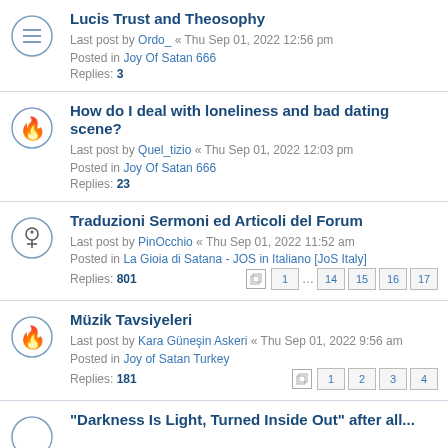Lucis Trust and Theosophy — Last post by Ordo_ « Thu Sep 01, 2022 12:56 pm — Posted in Joy Of Satan 666 — Replies: 3
How do I deal with loneliness and bad dating scene? — Last post by Quel_tizio « Thu Sep 01, 2022 12:03 pm — Posted in Joy Of Satan 666 — Replies: 23
Traduzioni Sermoni ed Articoli del Forum — Last post by PinOcchio « Thu Sep 01, 2022 11:52 am — Posted in La Gioia di Satana - JOS in Italiano [JoS Italy] — Replies: 801 — Pages: 1 … 14 15 16 17
Müzik Tavsiyeleri — Last post by Kara Güneşin Askeri « Thu Sep 01, 2022 9:56 am — Posted in Joy of Satan Turkey — Replies: 181 — Pages: 1 2 3 4
"Darkness Is Light, Turned Inside Out" after all...